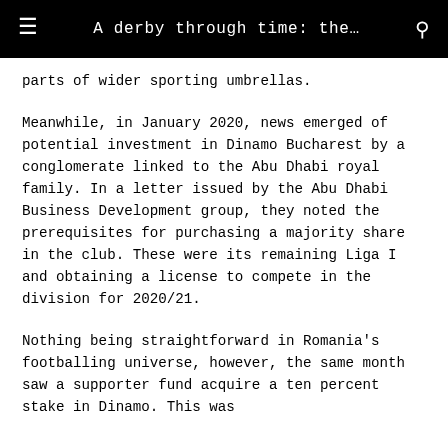A derby through time: the…
parts of wider sporting umbrellas.
Meanwhile, in January 2020, news emerged of potential investment in Dinamo Bucharest by a conglomerate linked to the Abu Dhabi royal family. In a letter issued by the Abu Dhabi Business Development group, they noted the prerequisites for purchasing a majority share in the club. These were its remaining Liga I and obtaining a license to compete in the division for 2020/21.
Nothing being straightforward in Romania's footballing universe, however, the same month saw a supporter fund acquire a ten percent stake in Dinamo. This was